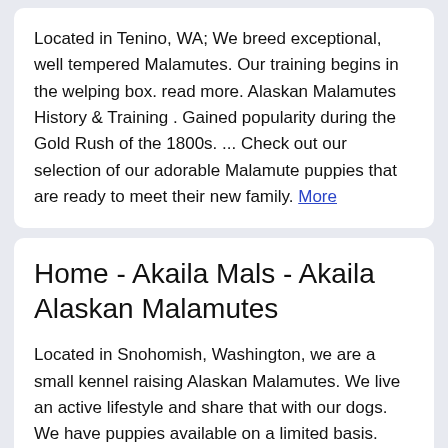Located in Tenino, WA; We breed exceptional, well tempered Malamutes. Our training begins in the welping box. read more. Alaskan Malamutes History & Training . Gained popularity during the Gold Rush of the 1800s. ... Check out our selection of our adorable Malamute puppies that are ready to meet their new family. More
Home - Akaila Mals - Akaila Alaskan Malamutes
Located in Snohomish, Washington, we are a small kennel raising Alaskan Malamutes. We live an active lifestyle and share that with our dogs. We have puppies available on a limited basis. More